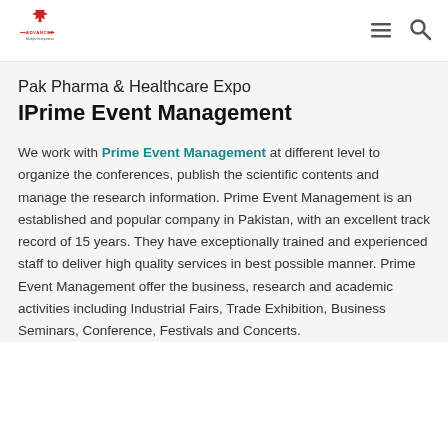Advanced Multiple Incorporation
Pak Pharma & Healthcare Expo
IPrime Event Management
We work with Prime Event Management at different level to organize the conferences, publish the scientific contents and manage the research information. Prime Event Management is an established and popular company in Pakistan, with an excellent track record of 15 years. They have exceptionally trained and experienced staff to deliver high quality services in best possible manner. Prime Event Management offer the business, research and academic activities including Industrial Fairs, Trade Exhibition, Business Seminars, Conference, Festivals and Concerts.